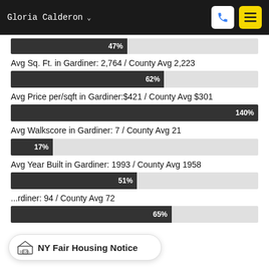Gloria Calderon
[Figure (bar-chart): Avg Sq. Ft. in Gardiner: 2,764 / County Avg 2,223]
Avg Sq. Ft. in Gardiner: 2,764 / County Avg 2,223
[Figure (bar-chart): Avg Price per/sqft in Gardiner: $421 / County Avg $301]
Avg Price per/sqft in Gardiner:$421 / County Avg $301
[Figure (bar-chart): Avg Walkscore in Gardiner: 7 / County Avg 21]
Avg Walkscore in Gardiner: 7 / County Avg 21
[Figure (bar-chart): Avg Year Built in Gardiner: 1993 / County Avg 1958]
Avg Year Built in Gardiner: 1993 / County Avg 1958
...rdiner: 94 / County Avg 72
[Figure (bar-chart): ]
NY Fair Housing Notice